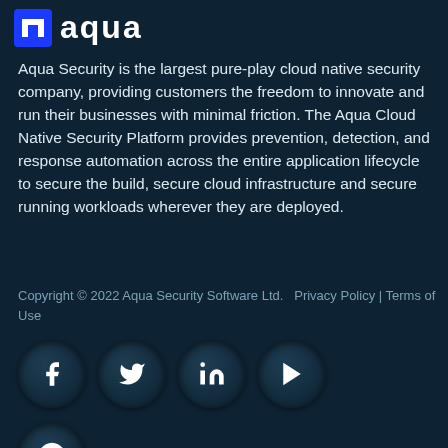[Figure (logo): Aqua Security logo — blue square icon with white 'aqua' wordmark on dark teal background]
Aqua Security is the largest pure-play cloud native security company, providing customers the freedom to innovate and run their businesses with minimal friction. The Aqua Cloud Native Security Platform provides prevention, detection, and response automation across the entire application lifecycle to secure the build, secure cloud infrastructure and secure running workloads wherever they are deployed.
Copyright © 2022 Aqua Security Software Ltd.  Privacy Policy | Terms of Use
[Figure (other): Row of social media icon buttons: Facebook, Twitter, LinkedIn, YouTube — white icons on dark circular buttons]
[Figure (other): Partial row of additional social media icon buttons, partially visible at bottom of page]